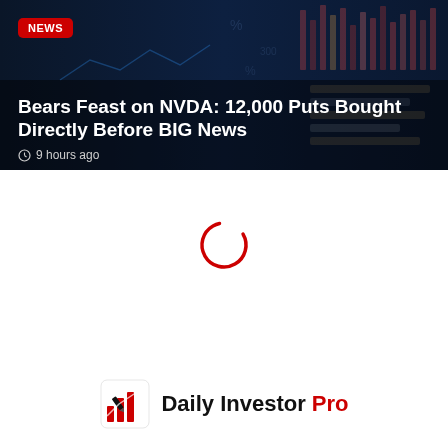[Figure (screenshot): Hero news card with dark blue financial background image showing stock market charts and data visualizations. Contains a red NEWS badge, headline text, and timestamp.]
Bears Feast on NVDA: 12,000 Puts Bought Directly Before BIG News
9 hours ago
[Figure (other): Red circular loading spinner]
[Figure (logo): Daily Investor Pro logo with icon and text]